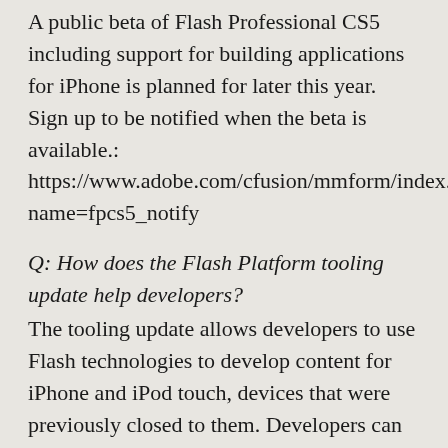A public beta of Flash Professional CS5 including support for building applications for iPhone is planned for later this year. Sign up to be notified when the beta is available.: https://www.adobe.com/cfusion/mmform/index.cfm?name=fpcs5_notify
Q: How does the Flash Platform tooling update help developers? The tooling update allows developers to use Flash technologies to develop content for iPhone and iPod touch, devices that were previously closed to them. Developers can write new code or reuse existing web content to build applications for iPhone. Because the source code and assets are reusable across the Flash Platform runtimes,—Adobe AIR and Flash Player—it also gives developers a way to more easily target other mobile and desktop environments.